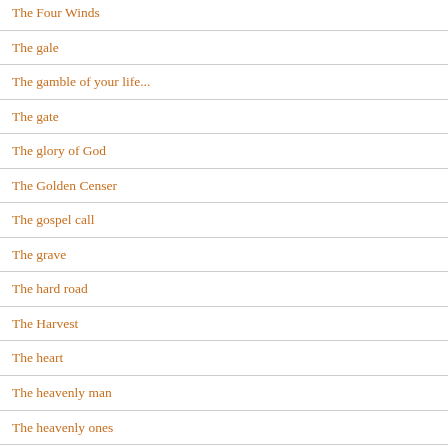The Four Winds
The gale
The gamble of your life...
The gate
The glory of God
The Golden Censer
The gospel call
The grave
The hard road
The Harvest
The heart
The heavenly man
The heavenly ones